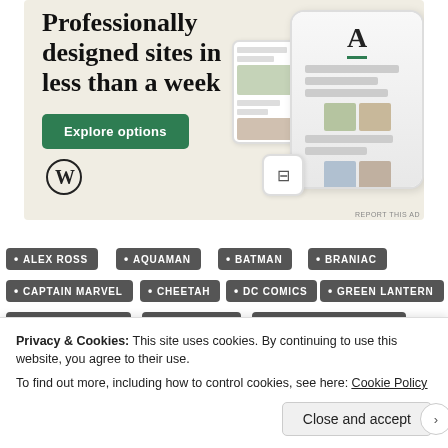[Figure (screenshot): WordPress advertisement banner with beige background, showing text 'Professionally designed sites in less than a week', a green 'Explore options' button, a WordPress logo, and website/app mockups on the right side.]
ALEX ROSS
AQUAMAN
BATMAN
BRANIAC
CAPTAIN MARVEL
CHEETAH
DC COMICS
GREEN LANTERN
JUSTICE LEAGUE
LEX LUTHOR
MARTIAN MANHUNTER
Privacy & Cookies: This site uses cookies. By continuing to use this website, you agree to their use.
To find out more, including how to control cookies, see here: Cookie Policy
Close and accept